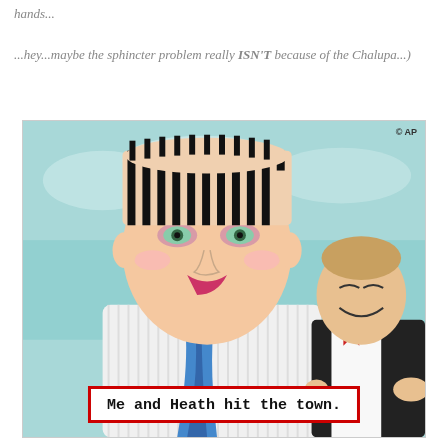hands...
...hey...maybe the sphincter problem really ISN'T because of the Chalupa...)
[Figure (photo): A photomontage/meme image showing a person with dramatic face paint and striped hair (Boy George style) wearing a blue scarf and striped shirt in the foreground, with a smiling man in a tuxedo with red bow tie in the background. A white caption box with red border at the bottom reads 'Me and Heath hit the town.' with an AP watermark in the top right corner.]
Me and Heath hit the town.